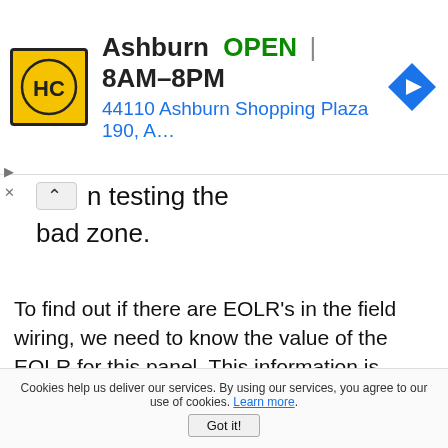[Figure (screenshot): Ad banner for HC (Home Depot or similar) store in Ashburn. Shows yellow logo with HC letters, store name 'Ashburn', OPEN status, hours 8AM–8PM, address '44110 Ashburn Shopping Plaza 190, A…', and a blue navigation arrow icon.]
n testing the bad zone.
To find out if there are EOLR's in the field wiring, we need to know the value of the EOLR for this panel. This information is usually printed on a decal inside the lid of the panel box. In the photo below, we see that the EOLR for the zones on this Ademco Vista 10SE panel are 1K Ohm, or 1,000 Ohms.
Cookies help us deliver our services. By using our services, you agree to our use of cookies. Learn more. Got it!